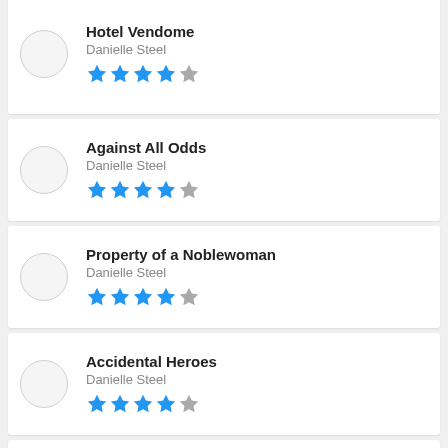Hotel Vendome – Danielle Steel – 4 stars
Against All Odds – Danielle Steel – 4.5 stars
Property of a Noblewoman – Danielle Steel – 4.5 stars
Accidental Heroes – Danielle Steel – 4 stars
Undercover – Danielle Steel